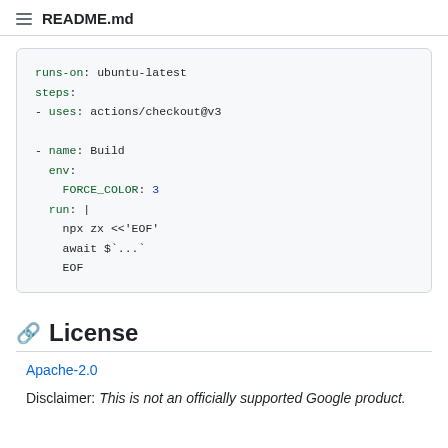README.md
runs-on: ubuntu-latest
steps:
- uses: actions/checkout@v3

- name: Build
  env:
    FORCE_COLOR: 3
  run: |
    npx zx <<'EOF'
    await $`...`
    EOF
License
Apache-2.0
Disclaimer: This is not an officially supported Google product.